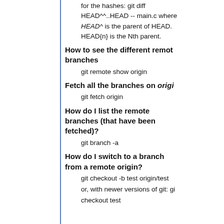for the hashes: git diff HEAD^^..HEAD -- main.c where HEAD^ is the parent of HEAD. HEAD{n} is the Nth parent.
How to see the different remote branches
git remote show origin
Fetch all the branches on origin
git fetch origin
How do I list the remote branches (that have been fetched)?
git branch -a
How do I switch to a branch from a remote origin?
git checkout -b test origin/test
or, with newer versions of git: gi checkout test